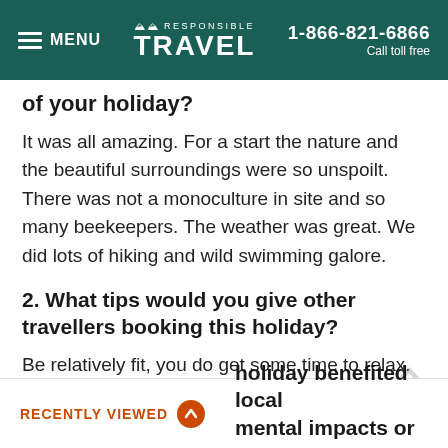MENU | RESPONSIBLE TRAVEL | 1-866-821-6866 Call toll free
of your holiday?
It was all amazing. For a start the nature and the beautiful surroundings were so unspoilt. There was not a monoculture in site and so many beekeepers. The weather was great. We did lots of hiking and wild swimming galore.
2. What tips would you give other travellers booking this holiday?
Be relatively fit, you do get some time to relax. Our place had a small swimming pool slightly salted and no chlorine. The beach was only 30 minutes away.
holiday benefited local mental impacts or ?